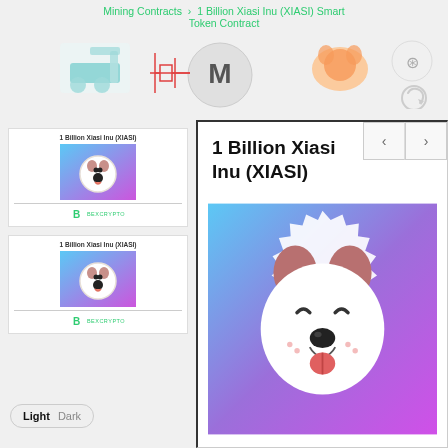Mining Contracts › 1 Billion Xiasi Inu (XIASI) Smart Token Contract
[Figure (screenshot): Banner with crypto-related icons including mining equipment, Monero coin, piggy bank, and refresh icon]
[Figure (screenshot): Thumbnail card 1: 1 Billion Xiasi Inu (XIASI) with dog logo and BEXCRYPTO INVEST branding]
[Figure (screenshot): Thumbnail card 2: 1 Billion Xiasi Inu (XIASI) with dog logo and BEXCRYPTO INVEST branding]
1 Billion Xiasi Inu (XIASI)
[Figure (logo): XIASI token logo: cartoon white dog face with pink gradient blue-to-purple background, sticker style with white jagged border]
[Figure (logo): BEXCRYPTO INVEST logo with green B letter and vertical divider]